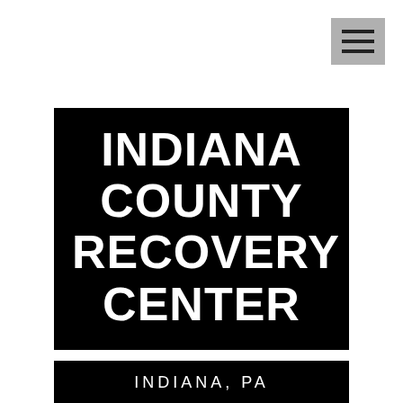[Figure (logo): Hamburger menu icon button with three horizontal bars on grey background, positioned top right]
INDIANA COUNTY RECOVERY CENTER
INDIANA, PA